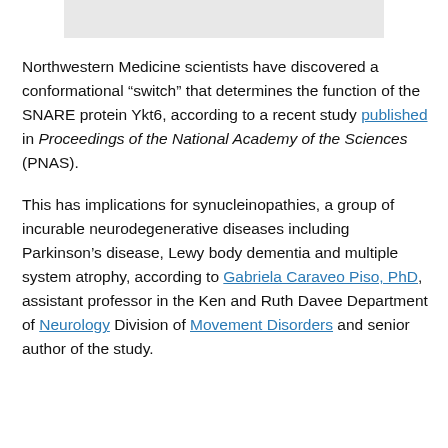[Figure (other): Partial image visible at the top of the page, appears to be a cropped photo or graphic with a light gray background bar]
Northwestern Medicine scientists have discovered a conformational “switch” that determines the function of the SNARE protein Ykt6, according to a recent study published in Proceedings of the National Academy of the Sciences (PNAS).
This has implications for synucleinopathies, a group of incurable neurodegenerative diseases including Parkinson’s disease, Lewy body dementia and multiple system atrophy, according to Gabriela Caraveo Piso, PhD, assistant professor in the Ken and Ruth Davee Department of Neurology Division of Movement Disorders and senior author of the study.